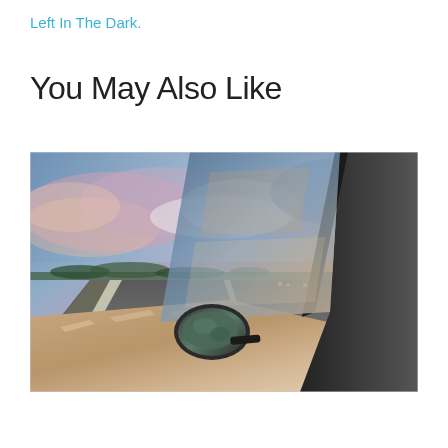Left In The Dark.
You May Also Like
[Figure (photo): A motion-blurred perspective from a moving car on a highway at sunset/dusk. The car's hood, side mirror, and window pillar are visible in the foreground. The sky is dramatic with pink, orange, purple, and blue clouds. The road stretches into the distance with headlights visible far ahead.]